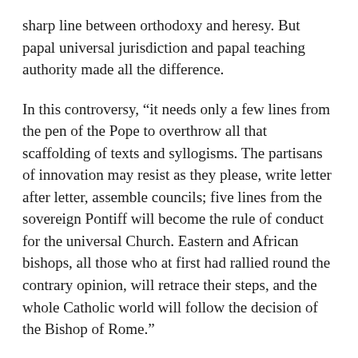sharp line between orthodoxy and heresy. But papal universal jurisdiction and papal teaching authority made all the difference.
In this controversy, “it needs only a few lines from the pen of the Pope to overthrow all that scaffolding of texts and syllogisms. The partisans of innovation may resist as they please, write letter after letter, assemble councils; five lines from the sovereign Pontiff will become the rule of conduct for the universal Church. Eastern and African bishops, all those who at first had rallied round the contrary opinion, will retrace their steps, and the whole Catholic world will follow the decision of the Bishop of Rome.”
Eastern opponents of the papacy are mistaken in their reliance on Cyprian as the mainstay of their apologetic. Cyprian repeatedly deferred to the supreme authority of the bishop of Rome. In at least one instance he begged for the exercise of that authority. With regard to heretical baptism, he opposed a